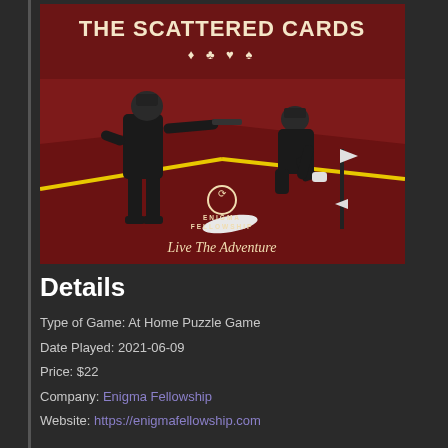[Figure (illustration): Book/game cover for 'The Scattered Cards' by Enigma Fellowship. Deep red background with two dark silhouetted police/detective figures and yellow crime scene tape. Card suit symbols (diamond, club, heart, spade) below title. Enigma Fellowship logo and 'Live The Adventure' tagline at bottom.]
Details
Type of Game: At Home Puzzle Game
Date Played: 2021-06-09
Price: $22
Company: Enigma Fellowship
Website: https://enigmafellowship.com